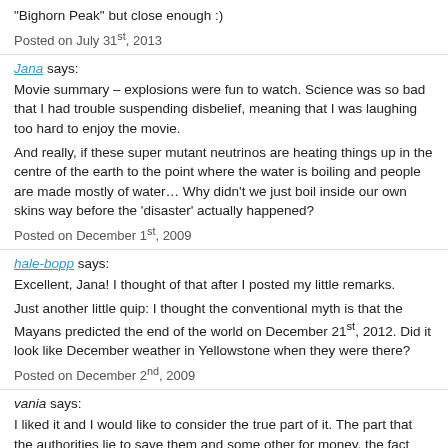“Bighorn Peak” but close enough :)
Posted on July 31st, 2013
Jana says:
Movie summary – explosions were fun to watch. Science was so bad that I had trouble suspending disbelief, meaning that I was laughing too hard to enjoy the movie.
And really, if these super mutant neutrinos are heating things up in the centre of the earth to the point where the water is boiling and people are made mostly of water… Why didn’t we just boil inside our own skins way before the ‘disaster’ actually happened?
Posted on December 1st, 2009
hale-bopp says:
Excellent, Jana! I thought of that after I posted my little remarks.
Just another little quip: I thought the conventional myth is that the Mayans predicted the end of the world on December 21st, 2012. Did it look like December weather in Yellowstone when they were there?
Posted on December 2nd, 2009
vania says:
I liked it and I would like to consider the true part of it. The part that the authorities lie to save them and some other for money, the fact that